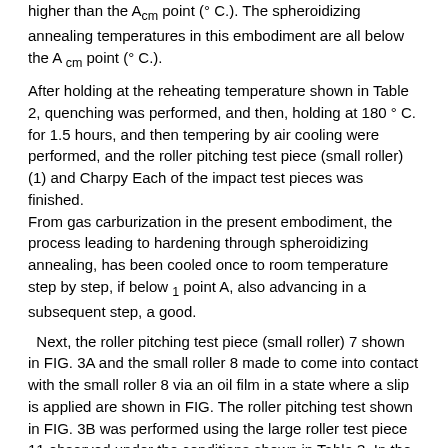higher than the A cm point (° C.). The spheroidizing annealing temperatures in this embodiment are all below the A cm point (° C.).
After holding at the reheating temperature shown in Table 2, quenching was performed, and then, holding at 180 ° C. for 1.5 hours, and then tempering by air cooling were performed, and the roller pitching test piece (small roller) (1) and Charpy Each of the impact test pieces was finished.
From gas carburization in the present embodiment, the process leading to hardening through spheroidizing annealing, has been cooled once to room temperature step by step, if below 1 point A, also advancing in a subsequent step, a good.
Next, the roller pitching test piece (small roller) 7 shown in FIG. 3A and the small roller 8 made to come into contact with the small roller 8 via an oil film in a state where a slip is applied are shown in FIG. The roller pitching test shown in FIG. 3B was performed using the large roller test piece 11 observed under the conditions shown in Table 3. In the conditions shown, the slip ratio of -40% means that the